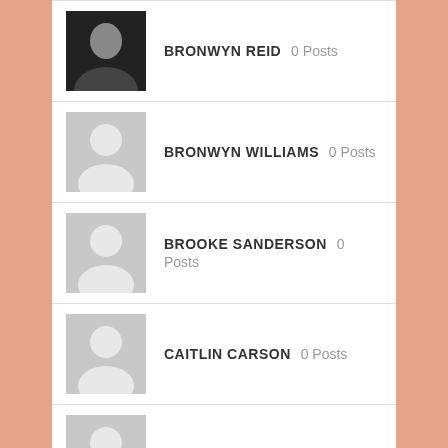BRONWYN REID 0 Posts
BRONWYN WILLIAMS 0 Posts
BROOKE SANDERSON 0 Posts
CAITLIN CARSON 0 Posts
CAITLIN ELLICK 0 Posts
(partial row)